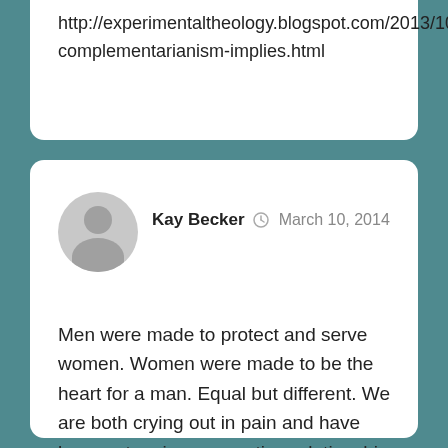http://experimentaltheology.blogspot.com/2013/10/hierarchical-complementarianism-implies.html
Kay Becker  March 10, 2014
Men were made to protect and serve women. Women were made to be the heart for a man. Equal but different. We are both crying out in pain and have been set up in a competing relationship. Now we are all frustrated. It is a growing struggle. God Bless